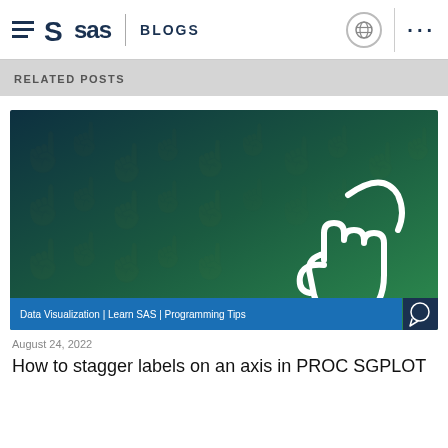SAS BLOGS
RELATED POSTS
[Figure (illustration): Dark teal/green gradient background with faint cursor/hand icons pattern. In center-right, a large white outlined hand with pointing finger icon. Blue tag bar at bottom reading: Data Visualization | Learn SAS | Programming Tips. Small dark chat bubble icon at bottom right corner.]
August 24, 2022
How to stagger labels on an axis in PROC SGPLOT